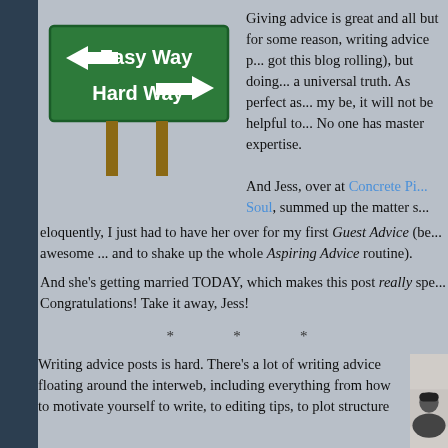[Figure (photo): Green road sign with two arrows: 'Easy Way' pointing left and 'Hard Way' pointing right, mounted on two wooden posts against white background.]
Giving advice is great and all but for some reason, writing advice p... got this blog rolling), but doing... a universal truth. As perfect as... my be, it will not be helpful to... No one has master expertise.
And Jess, over at Concrete Pi... Soul, summed up the matter s... eloquently, I just had to have her over for my first Guest Advice (be... awesome ... and to shake up the whole Aspiring Advice routine).
And she's getting married TODAY, which makes this post really spe... Congratulations! Take it away, Jess!
* * *
Writing advice posts is hard. There's a lot of writing advice floating around the interweb, including everything from how to motivate yourself to write, to editing tips, to plot structure
[Figure (photo): Black and white photo of a person, partially visible, showing the top of their head and face.]